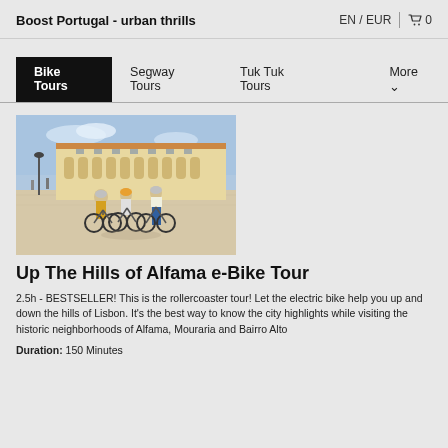Boost Portugal - urban thrills | EN / EUR | 🛒 0
Bike Tours | Segway Tours | Tuk Tuk Tours | More
[Figure (photo): Group of cyclists with e-bikes in a sunny Lisbon plaza with a large historic building in the background]
Up The Hills of Alfama e-Bike Tour
2.5h - BESTSELLER! This is the rollercoaster tour! Let the electric bike help you up and down the hills of Lisbon. It's the best way to know the city highlights while visiting the historic neighborhoods of Alfama, Mouraria and Bairro Alto
Duration: 150 Minutes